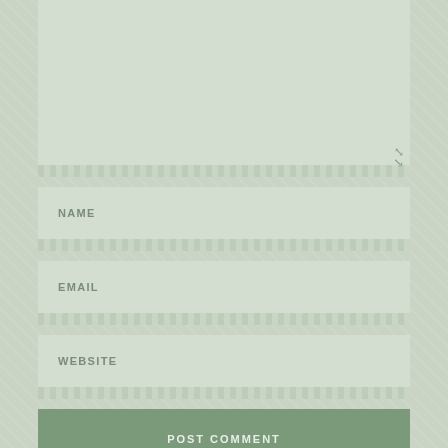[Figure (screenshot): Comment form textarea (large empty input area with resize handle)]
NAME
EMAIL
WEBSITE
POST COMMENT
Notify me of new comments via email.